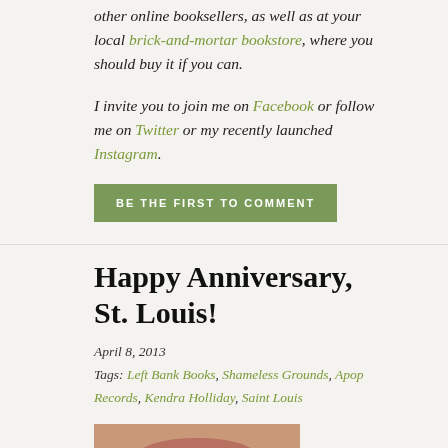other online booksellers, as well as at your local brick-and-mortar bookstore, where you should buy it if you can.
I invite you to join me on Facebook or follow me on Twitter or my recently launched Instagram.
BE THE FIRST TO COMMENT
Happy Anniversary, St. Louis!
April 8, 2013
Tags: Left Bank Books, Shameless Grounds, Apop Records, Kendra Holliday, Saint Louis
[Figure (photo): Close-up photo of an open mouth showing lips and teeth]